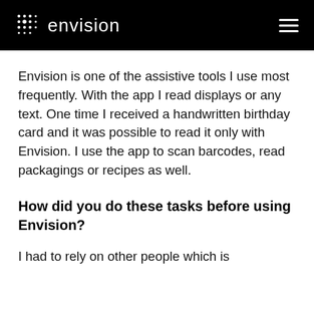envision
Envision is one of the assistive tools I use most frequently. With the app I read displays or any text. One time I received a handwritten birthday card and it was possible to read it only with Envision. I use the app to scan barcodes, read packagings or recipes as well.
How did you do these tasks before using Envision?
I had to rely on other people which is